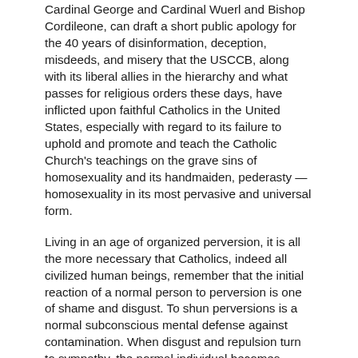Cardinal George and Cardinal Wuerl and Bishop Cordileone, can draft a short public apology for the 40 years of disinformation, deception, misdeeds, and misery that the USCCB, along with its liberal allies in the hierarchy and what passes for religious orders these days, have inflicted upon faithful Catholics in the United States, especially with regard to its failure to uphold and promote and teach the Catholic Church's teachings on the grave sins of homosexuality and its handmaiden, pederasty — homosexuality in its most pervasive and universal form.
Living in an age of organized perversion, it is all the more necessary that Catholics, indeed all civilized human beings, remember that the initial reaction of a normal person to perversion is one of shame and disgust. To shun perversions is a normal subconscious mental defense against contamination. When disgust and repulsion turn to sympathy, the normal individual becomes defenseless in the face of the perversion.
USCCB pro-homosexual actions and publications which promote an inordinate and false "compassion" for individuals caught up in the vice of sodomy have weakened Catholic opposition to the perversion, and rendered many Catholics defenseless before the onslaught of the Homosexual Collective.